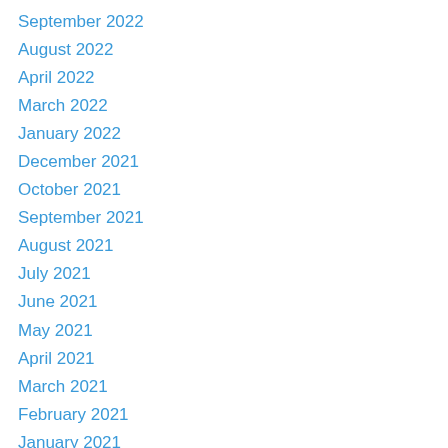September 2022
August 2022
April 2022
March 2022
January 2022
December 2021
October 2021
September 2021
August 2021
July 2021
June 2021
May 2021
April 2021
March 2021
February 2021
January 2021
December 2020
November 2020
October 2020
September 2020